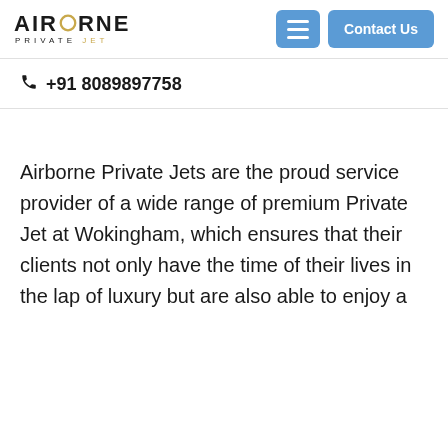[Figure (logo): Airborne Private Jet logo with gold ring in letter O]
+91 8089897758
Airborne Private Jets are the proud service provider of a wide range of premium Private Jet at Wokingham, which ensures that their clients not only have the time of their lives in the lap of luxury but are also able to enjoy a